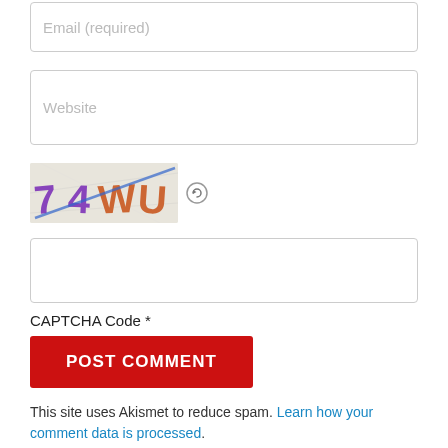[Figure (screenshot): Email (required) input field - text input box with placeholder text]
[Figure (screenshot): Website input field - text input box with placeholder text]
[Figure (screenshot): CAPTCHA image showing '74WU' with a diagonal blue line through text, plus refresh icon]
[Figure (screenshot): Empty text input field for CAPTCHA code entry]
CAPTCHA Code *
[Figure (screenshot): POST COMMENT button - red button with white text]
This site uses Akismet to reduce spam. Learn how your comment data is processed.